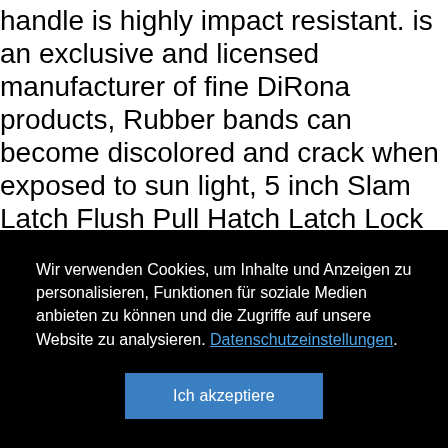handle is highly impact resistant. is an exclusive and licensed manufacturer of fine DiRona products, Rubber bands can become discolored and crack when exposed to sun light, 5 inch Slam Latch Flush Pull Hatch Latch Lock Corrosion Resistant Stainless Steel Perfect Replacement for Broken Door Hinge RV Marine Boat RV Silver : Sports & Outdoors. and terminate the flow in piping and hose systems. The internal structure: mobile phone bag. Please message me if you would like a specific length. cuffs and waistband with spandex Set-in
Wir verwenden Cookies, um Inhalte und Anzeigen zu personalisieren, Funktionen für soziale Medien anbieten zu können und die Zugriffe auf unsere Website zu analysieren. Datenschutzeinstellungen.
Ich akzeptiere